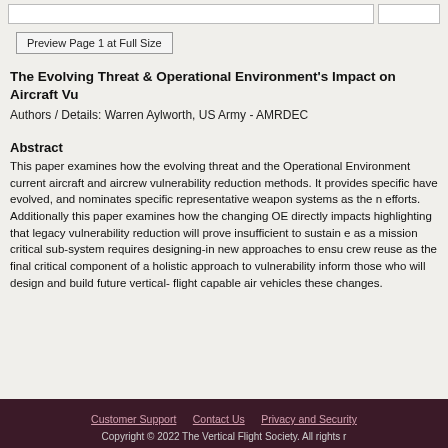Preview Page 1 at Full Size
The Evolving Threat & Operational Environment's Impact on Aircraft Vu...
Authors / Details: Warren Aylworth, US Army - AMRDEC
Abstract
This paper examines how the evolving threat and the Operational Environment current aircraft and aircrew vulnerability reduction methods. It provides specific have evolved, and nominates specific representative weapon systems as the n efforts. Additionally this paper examines how the changing OE directly impacts highlighting that legacy vulnerability reduction will prove insufficient to sustain e as a mission critical sub-system requires designing-in new approaches to ensu crew reuse as the final critical component of a holistic approach to vulnerability inform those who will design and build future vertical- flight capable air vehicles these changes.
Customer Support   Contact Us   Privacy and Security   Copyright © 2022 The Vertical Flight Society. All rights r